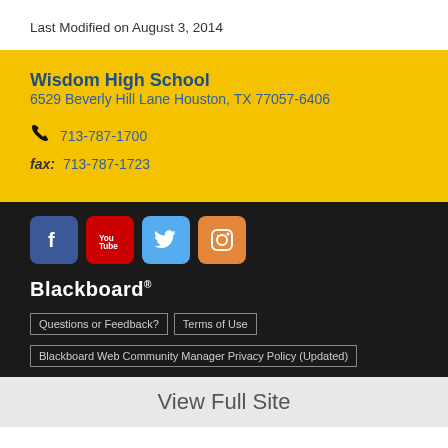Last Modified on August 3, 2014
Wisdom High School
6529 Beverly Hill Lane Houston, TX 77057-6406
713-787-1700
fax: 713-787-1723
[Figure (other): Social media icons: Facebook, YouTube, Twitter, Instagram]
[Figure (logo): Blackboard logo with trademark symbol]
Questions or Feedback?
Terms of Use
Blackboard Web Community Manager Privacy Policy (Updated)
View Full Site